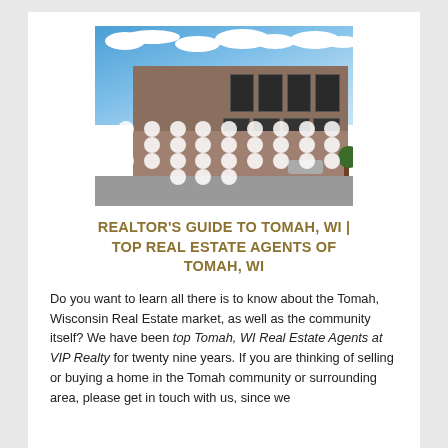[Figure (photo): Exterior photo of a two-story brick commercial building in Tomah, WI, with blue sky and clouds in background, overlaid with white dot pattern]
REALTOR'S GUIDE TO TOMAH, WI | TOP REAL ESTATE AGENTS OF TOMAH, WI
Do you want to learn all there is to know about the Tomah, Wisconsin Real Estate market, as well as the community itself? We have been top Tomah, WI Real Estate Agents at VIP Realty for twenty nine years. If you are thinking of selling or buying a home in the Tomah community or surrounding area, please get in touch with us, since we